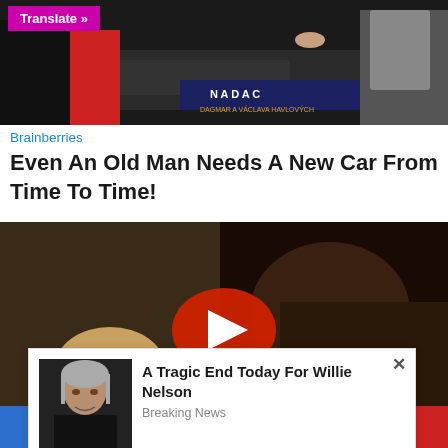[Figure (photo): Top image showing people at what appears to be a car dealership or event with a banner reading NADAC]
Translate »
Brainberries
Even An Old Man Needs A New Car From Time To Time!
[Figure (screenshot): Video player thumbnail showing people, with a YouTube-style red play button overlay]
[Figure (screenshot): Pop-up ad with photo of Willie Nelson and headline 'A Tragic End Today For Willie Nelson' with source 'Breaking News']